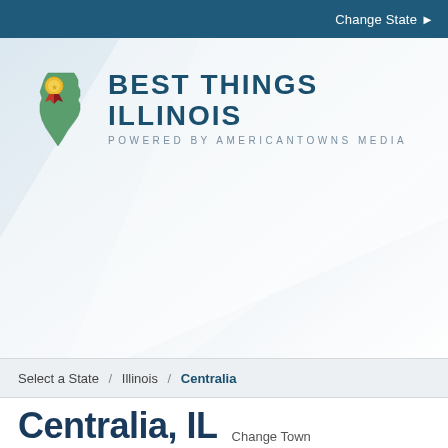Change State ▶
[Figure (logo): Best Things Illinois logo — Illinois state outline in green with a gold/red ribbon badge, beside text reading BEST THINGS ILLINOIS / POWERED BY AMERICANTOWNS MEDIA]
Select a State / Illinois / Centralia
Centralia, IL  Change Town